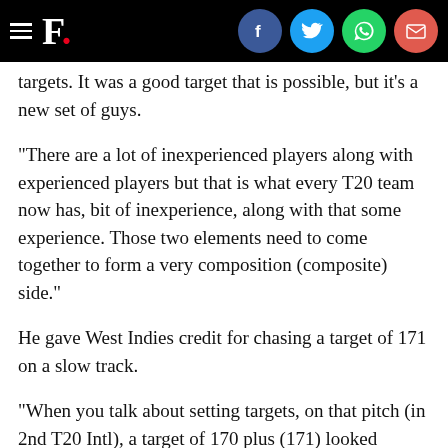F. [social icons: Facebook, Twitter, WhatsApp, Email]
targets. It was a good target that is possible, but it's a new set of guys.
"There are a lot of inexperienced players along with experienced players but that is what every T20 team now has, bit of inexperience, along with that some experience. Those two elements need to come together to form a very composition (composite) side."
He gave West Indies credit for chasing a target of 171 on a slow track.
"When you talk about setting targets, on that pitch (in 2nd T20 Intl), a target of 170 plus (171) looked decent. When we started batting, the wicket was on the slower side, the shot-making was not that easy although the West Indies made it look very easy."
At an individual level, Rohit's own approach remains the same